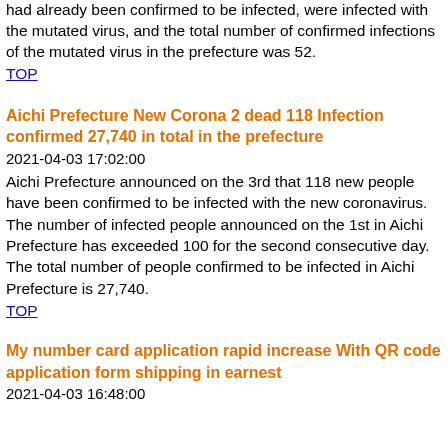had already been confirmed to be infected, were infected with the mutated virus, and the total number of confirmed infections of the mutated virus in the prefecture was 52.
TOP
Aichi Prefecture New Corona 2 dead 118 Infection confirmed 27,740 in total in the prefecture
2021-04-03 17:02:00
Aichi Prefecture announced on the 3rd that 118 new people have been confirmed to be infected with the new coronavirus. The number of infected people announced on the 1st in Aichi Prefecture has exceeded 100 for the second consecutive day. The total number of people confirmed to be infected in Aichi Prefecture is 27,740.
TOP
My number card application rapid increase With QR code application form shipping in earnest
2021-04-03 16:48:00